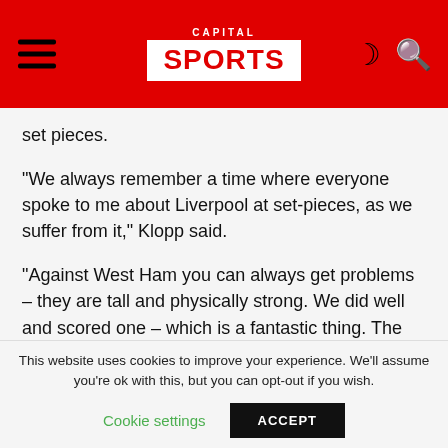CAPITAL SPORTS
set pieces.
“We always remember a time where everyone spoke to me about Liverpool at set-pieces, as we suffer from it,” Klopp said.
“Against West Ham you can always get problems – they are tall and physically strong. We did well and scored one – which is a fantastic thing. The other goals we scored were fantastic football moments.”
This website uses cookies to improve your experience. We’ll assume you’re ok with this, but you can opt-out if you wish.